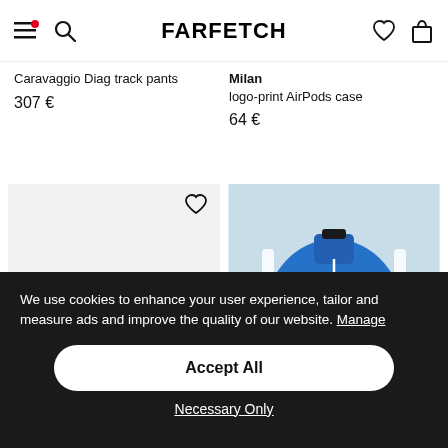FARFETCH
Caravaggio Diag track pants   307 €
Milan logo-print AirPods case   64 €
[Figure (photo): Empty light grey product image card with a heart/wishlist icon in the top right corner]
[Figure (photo): Blue Palm Angels zip-up track jacket with white stripe detail and logo, on a light background, with a heart/wishlist icon in the top right corner]
We use cookies to enhance your user experience, tailor and measure ads and improve the quality of our website. Manage
Accept All
Necessary Only